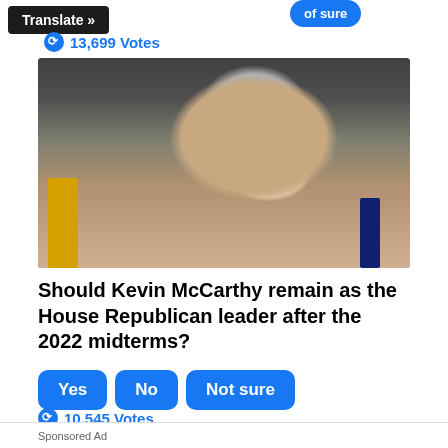Translate »
13,699 Votes
[Figure (photo): Close-up photo of Kevin McCarthy, gray-haired man in dark suit and tie, speaking at a podium with American flags and yellow flag in background]
Should Kevin McCarthy remain as the House Republican leader after the 2022 midterms?
Yes   No   Not sure
10,545 Votes
Sponsored Ad